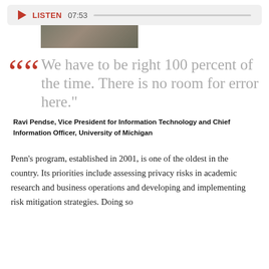LISTEN 07:53
[Figure (photo): Partial image of a person, cropped at top]
We have to be right 100 percent of the time. There is no room for error here."
Ravi Pendse, Vice President for Information Technology and Chief Information Officer, University of Michigan
Penn's program, established in 2001, is one of the oldest in the country. Its priorities include assessing privacy risks in academic research and business operations and developing and implementing risk mitigation strategies. Doing so